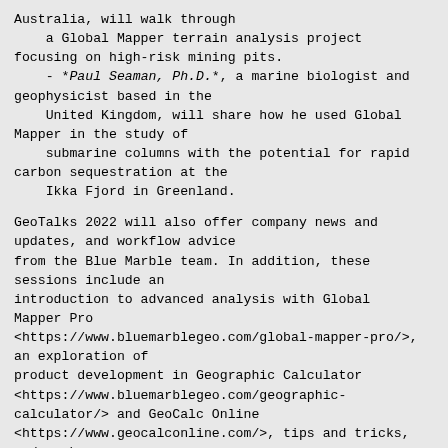Australia, will walk through
    a Global Mapper terrain analysis project
focusing on high-risk mining pits.
    - *Paul Seaman, Ph.D.*, a marine biologist and
geophysicist based in the
    United Kingdom, will share how he used Global
Mapper in the study of
    submarine columns with the potential for rapid
carbon sequestration at the
    Ikka Fjord in Greenland.
GeoTalks 2022 will also offer company news and
updates, and workflow advice
from the Blue Marble team. In addition, these
sessions include an
introduction to advanced analysis with Global
Mapper Pro
<https://www.bluemarblegeo.com/global-mapper-pro/>,
an exploration of
product development in Geographic Calculator
<https://www.bluemarblegeo.com/geographic-
calculator/> and GeoCalc Online
<https://www.geocalconline.com/>, tips and tricks,
and much more.
Attendees will have the opportunity to ask
questions and interact with
speakers and hosts through the virtual webinar
platform.